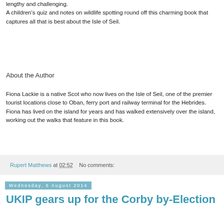lengthy and challenging. A children's quiz and notes on wildlife spotting round off this charming book that captures all that is best about the Isle of Seil.
About the Author
Fiona Lackie is a native Scot who now lives on the Isle of Seil, one of the premier tourist locations close to Oban, ferry port and railway terminal for the Hebrides. Fiona has lived on the island for years and has walked extensively over the island, working out the walks that feature in this book.
Rupert Matthews at 02:52   No comments:
Wednesday, 6 August 2014
UKIP gears up for the Corby by-Election